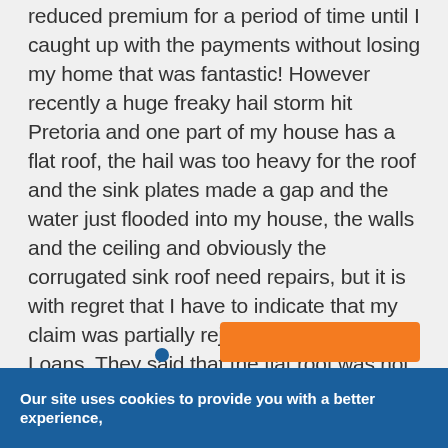reduced premium for a period of time until I caught up with the payments without losing my home that was fantastic! However recently a huge freaky hail storm hit Pretoria and one part of my house has a flat roof, the hail was too heavy for the roof and the sink plates made a gap and the water just flooded into my house, the walls and the ceiling and obviously the corrugated sink roof need repairs, but it is with regret that I have to indicate that my claim was partially rejected by SA Home Loans. They said that the flat roof was not properly sealed, but how was I supposed to have known that, I bought the house the way it
Our site uses cookies to provide you with a better experience,